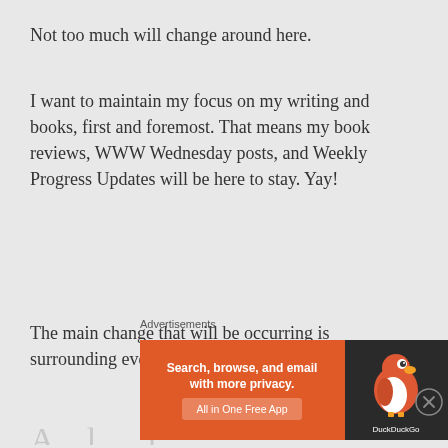Not too much will change around here.
I want to maintain my focus on my writing and books, first and foremost. That means my book reviews, WWW Wednesday posts, and Weekly Progress Updates will be here to stay. Yay!
The main change that will be occurring is surrounding everything else.
A ... (partially visible)
Advertisements
[Figure (infographic): DuckDuckGo advertisement banner: orange background on left with text 'Search, browse, and email with more privacy. All in One Free App', dark right panel with DuckDuckGo duck logo and 'DuckDuckGo' text]